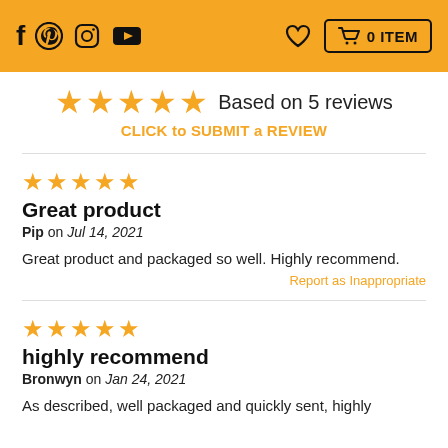f  pinterest  instagram  youtube    heart  0 ITEM
★★★★★ Based on 5 reviews
CLICK to SUBMIT a REVIEW
★★★★★
Great product
Pip on Jul 14, 2021
Great product and packaged so well. Highly recommend.
Report as Inappropriate
★★★★★
highly recommend
Bronwyn on Jan 24, 2021
As described, well packaged and quickly sent, highly